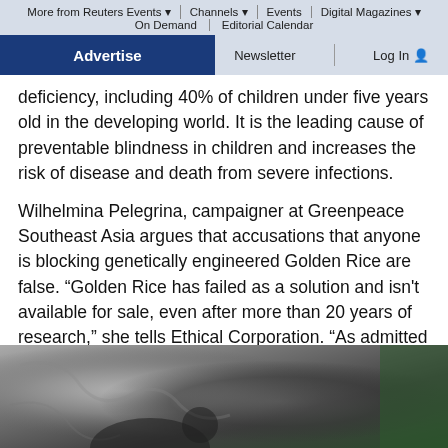More from Reuters Events | Channels | Events | Digital Magazines | On Demand | Editorial Calendar
Advertise | Newsletter | Log In
deficiency, including 40% of children under five years old in the developing world. It is the leading cause of preventable blindness in children and increases the risk of disease and death from severe infections.
Wilhelmina Pelegrina, campaigner at Greenpeace Southeast Asia argues that accusations that anyone is blocking genetically engineered Golden Rice are false. “Golden Rice has failed as a solution and isn't available for sale, even after more than 20 years of research,” she tells Ethical Corporation. “As admitted by the International Rice Research Institute, it has not been proven to actually address vitamin A deficiency.”
[Figure (photo): Close-up photo of a person, partially visible at bottom of page]